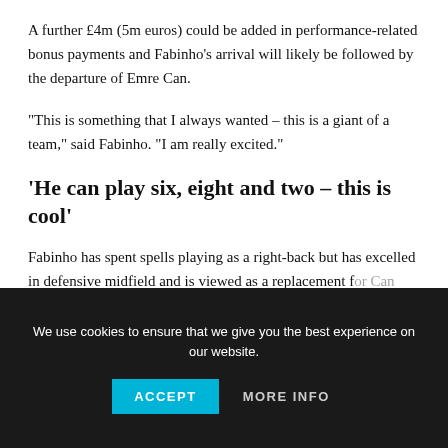A further £4m (5m euros) could be added in performance-related bonus payments and Fabinho's arrival will likely be followed by the departure of Emre Can.
“This is something that I always wanted – this is a giant of a team,” said Fabinho. “I am really excited.”
‘He can play six, eight and two – this is cool’
Fabinho has spent spells playing as a right-back but has excelled in defensive midfield and is viewed as a replacement for Can, having not featured this season, probably not all
We use cookies to ensure that we give you the best experience on our website.